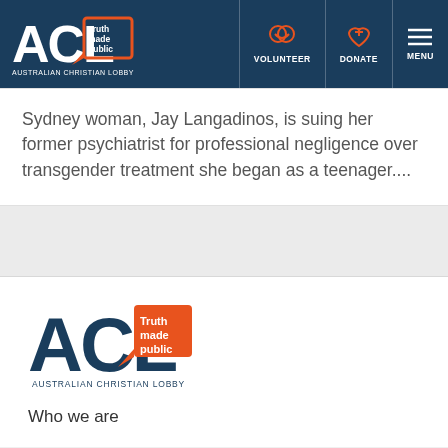[Figure (logo): ACL Australian Christian Lobby logo with 'Truth made public' tagline, white text on dark blue header, with orange/white handshake icon VOLUNTEER, orange heart+plus icon DONATE, and hamburger menu MENU navigation]
Sydney woman, Jay Langadinos, is suing her former psychiatrist for professional negligence over transgender treatment she began as a teenager....
[Figure (logo): ACL Australian Christian Lobby logo, large version with orange speech bubble, dark blue letters ACL, 'Truth made public' in white on orange, 'AUSTRALIAN CHRISTIAN LOBBY' in dark blue below]
Who we are